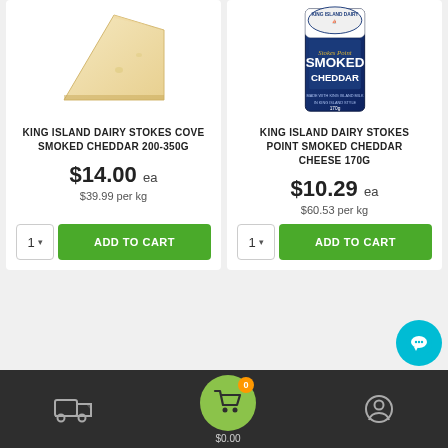[Figure (photo): Wedge of cheese (product image for King Island Dairy Stokes Cove Smoked Cheddar)]
KING ISLAND DAIRY STOKES COVE SMOKED CHEDDAR 200-350G
$14.00 ea
$39.99 per kg
[Figure (photo): Packaged King Island Dairy Stokes Point Smoked Cheddar product bag]
KING ISLAND DAIRY STOKES POINT SMOKED CHEDDAR CHEESE 170G
$10.29 ea
$60.53 per kg
[Figure (screenshot): Bottom navigation bar with delivery truck icon, cart icon with 0 badge and $0.00 label, and user profile icon]